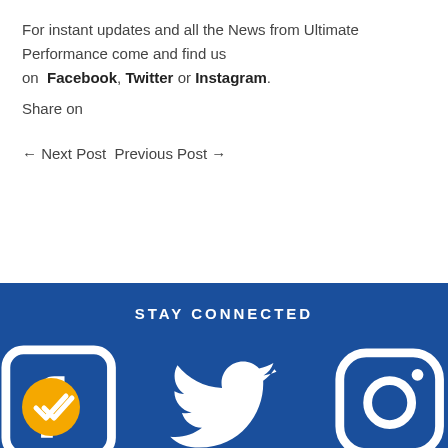For instant updates and all the News from Ultimate Performance come and find us on Facebook, Twitter or Instagram.
Share on
← Next Post Previous Post →
STAY CONNECTED
[Figure (illustration): Facebook, Twitter, and Instagram social media icons in white on blue background, plus a yellow circular badge with white double checkmark icon]